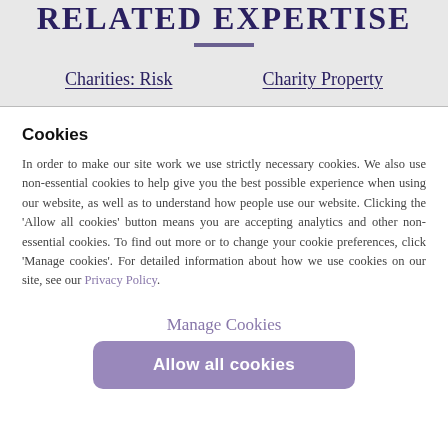RELATED EXPERTISE
Charities: Risk   Charity Property
Cookies
In order to make our site work we use strictly necessary cookies. We also use non-essential cookies to help give you the best possible experience when using our website, as well as to understand how people use our website. Clicking the 'Allow all cookies' button means you are accepting analytics and other non-essential cookies. To find out more or to change your cookie preferences, click 'Manage cookies'. For detailed information about how we use cookies on our site, see our Privacy Policy.
Manage Cookies
Allow all cookies